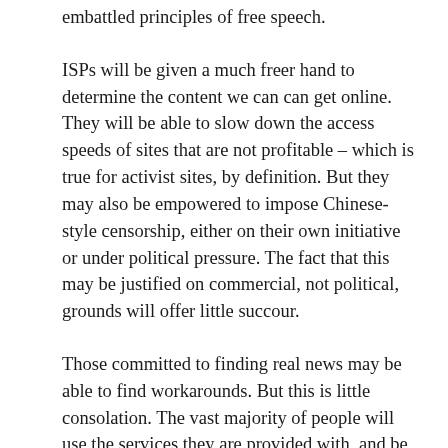embattled principles of free speech.
ISPs will be given a much freer hand to determine the content we can can get online. They will be able to slow down the access speeds of sites that are not profitable – which is true for activist sites, by definition. But they may also be empowered to impose Chinese-style censorship, either on their own initiative or under political pressure. The fact that this may be justified on commercial, not political, grounds will offer little succour.
Those committed to finding real news may be able to find workarounds. But this is little consolation. The vast majority of people will use the services they are provided with, and be oblivious to what is no longer available.
If it takes an age to access a website, they will simply